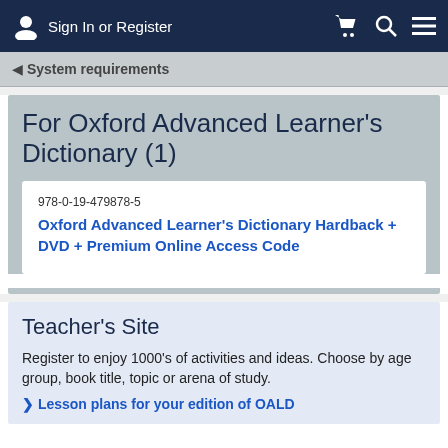Sign In or Register
System requirements
For Oxford Advanced Learner's Dictionary (1)
978-0-19-479878-5
Oxford Advanced Learner's Dictionary Hardback + DVD + Premium Online Access Code
Teacher's Site
Register to enjoy 1000's of activities and ideas. Choose by age group, book title, topic or arena of study.
> Lesson plans for your edition of OALD